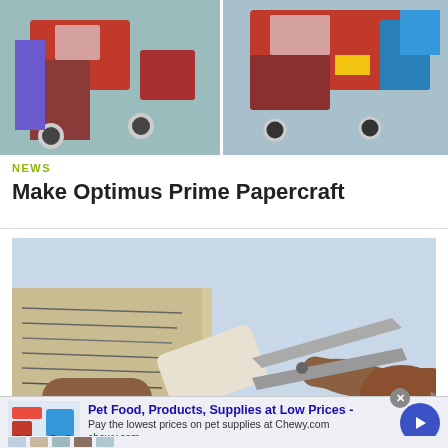[Figure (photo): Two paper craft truck models (Optimus Prime) side by side on a light blue background]
NEWS
Make Optimus Prime Papercraft
[Figure (photo): Close-up of hands cutting paper with scissors, crafting paper model]
[Figure (other): Advertisement: Pet Food, Products, Supplies at Low Prices - Chewy.com. Pay the lowest prices on pet supplies at Chewy.com. chewy.com]